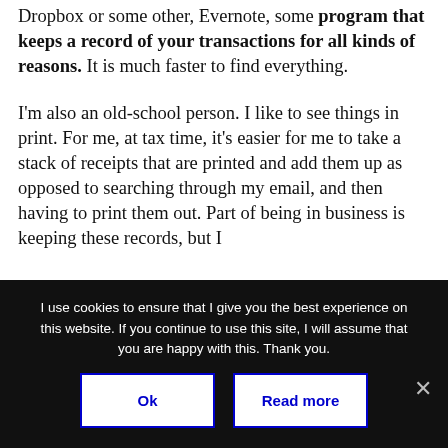Dropbox or some other, Evernote, some program that keeps a record of your transactions for all kinds of reasons. It is much faster to find everything.
I'm also an old-school person. I like to see things in print. For me, at tax time, it's easier for me to take a stack of receipts that are printed and add them up as opposed to searching through my email, and then having to print them out. Part of being in business is keeping these records, but I
I use cookies to ensure that I give you the best experience on this website. If you continue to use this site, I will assume that you are happy with this. Thank you.